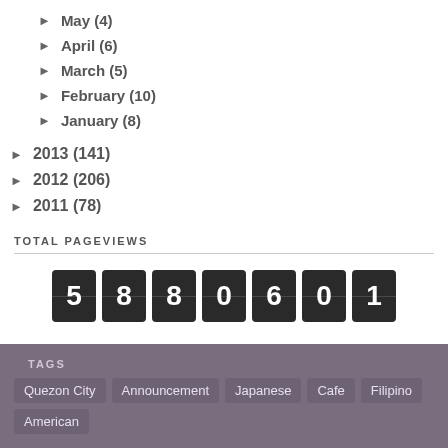► May (4)
► April (6)
► March (5)
► February (10)
► January (8)
► 2013 (141)
► 2012 (206)
► 2011 (78)
TOTAL PAGEVIEWS
[Figure (other): Flip counter showing total pageviews: 5880601]
TAGS
Quezon City
Announcement
Japanese
Cafe
Filipino
American